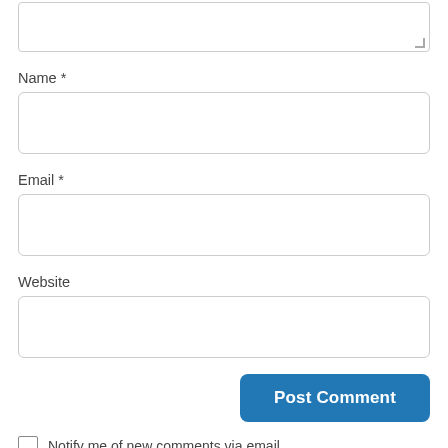[Figure (screenshot): Top portion of a web comment form showing a textarea (partially visible at top), followed by Name, Email, and Website labeled input fields, a blue Post Comment button, and a checkbox with 'Notify me of new comments via email.' text.]
Name *
Email *
Website
Post Comment
Notify me of new comments via email.